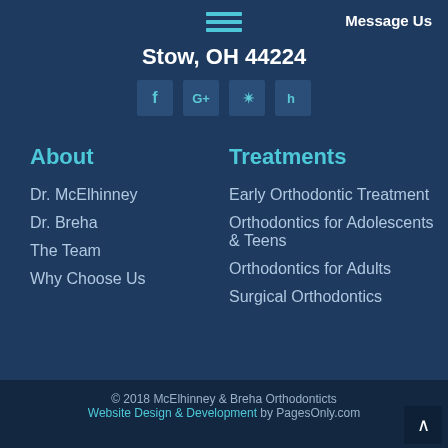Message Us
[Figure (illustration): Hamburger menu icon (three horizontal lines) in teal/cyan color]
Stow, OH 44224
[Figure (illustration): Four social media icon buttons: Facebook (f), Google+ (G+), Yelp (yelp icon), Houzz (h icon)]
About
Dr. McElhinney
Dr. Breha
The Team
Why Choose Us
Treatments
Early Orthodontic Treatment
Orthodontics for Adolescents & Teens
Orthodontics for Adults
Surgical Orthodontics
© 2018 McElhinney & Breha Orthodonticts Website Design & Development by PagesOnly.com